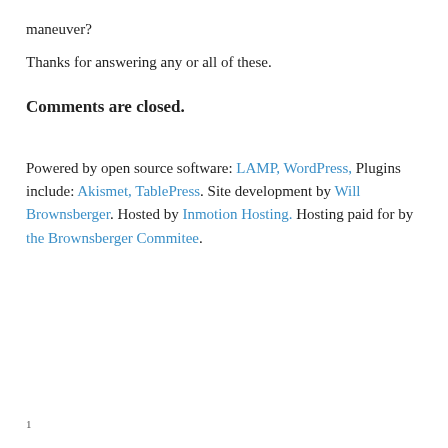maneuver?
Thanks for answering any or all of these.
Comments are closed.
Powered by open source software: LAMP, WordPress, Plugins include: Akismet, TablePress. Site development by Will Brownsberger. Hosted by Inmotion Hosting. Hosting paid for by the Brownsberger Commitee.
1